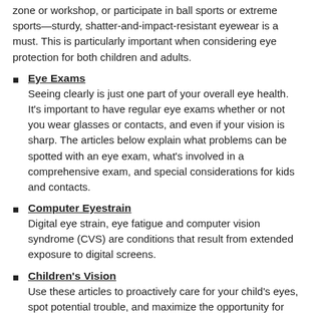zone or workshop, or participate in ball sports or extreme sports—sturdy, shatter-and-impact-resistant eyewear is a must. This is particularly important when considering eye protection for both children and adults.
Eye Exams
Seeing clearly is just one part of your overall eye health. It's important to have regular eye exams whether or not you wear glasses or contacts, and even if your vision is sharp. The articles below explain what problems can be spotted with an eye exam, what's involved in a comprehensive exam, and special considerations for kids and contacts.
Computer Eyestrain
Digital eye strain, eye fatigue and computer vision syndrome (CVS) are conditions that result from extended exposure to digital screens.
Children's Vision
Use these articles to proactively care for your child's eyes, spot potential trouble, and maximize the opportunity for crisp, convenient and healthy vision.
Vision Surgery
Tips for…